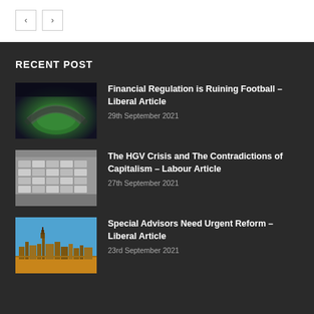[Figure (other): Navigation previous/next arrow buttons]
RECENT POST
[Figure (photo): Aerial view of a football stadium at night]
Financial Regulation is Ruining Football – Liberal Article
29th September 2021
[Figure (photo): Aerial view of HGV trucks parked in rows]
The HGV Crisis and The Contradictions of Capitalism – Labour Article
27th September 2021
[Figure (photo): Buildings including what appears to be the Houses of Parliament]
Special Advisors Need Urgent Reform – Liberal Article
23rd September 2021